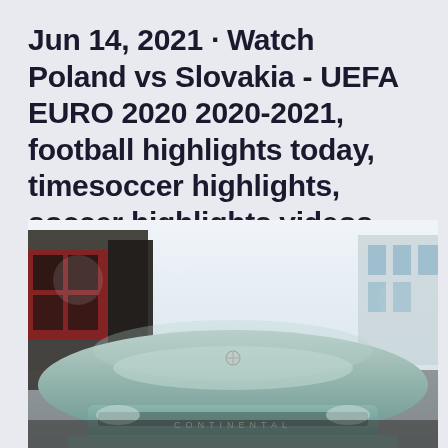Jun 14, 2021 · Watch Poland vs Slovakia - UEFA EURO 2020 2020-2021, football highlights today, timesoccer highlights, soccer highlights videos
[Figure (photo): A classic vintage car (Lincoln Continental) photographed from the front at street level, showing the hood ornament and Continental lettering. Urban street scene with buildings visible in the background, including a red-trim storefront on the left and modern buildings on the right.]